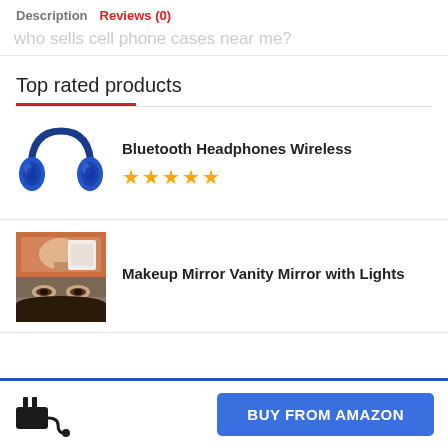Description  Reviews (0)
who sells cell phone cases near me?
Top rated products
Bluetooth Headphones Wireless ★★★★★
Makeup Mirror Vanity Mirror with Lights
BUY FROM AMAZON